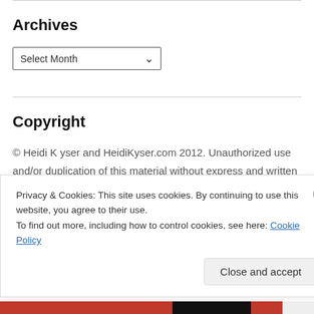Archives
[Figure (other): Select Month dropdown widget]
Copyright
© Heidi K yser and HeidiKyser.com 2012. Unauthorized use and/or duplication of this material without express and written permission from this blog's author and/or owner is strictly prohibited. Excerpts and links may be used, provided that full and clear credit is given to Heidi Kyser and HeidiKyser.com with appropriate and specific direction to the original content.
Privacy & Cookies: This site uses cookies. By continuing to use this website, you agree to their use.
To find out more, including how to control cookies, see here: Cookie Policy